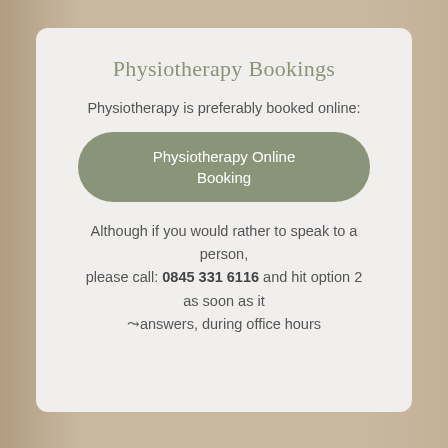Physiotherapy Bookings
Physiotherapy is preferably booked online:
Physiotherapy Online Booking
Although if you would rather to speak to a person, please call: 0845 331 6116 and hit option 2 as soon as it ⨽answers, during office hours